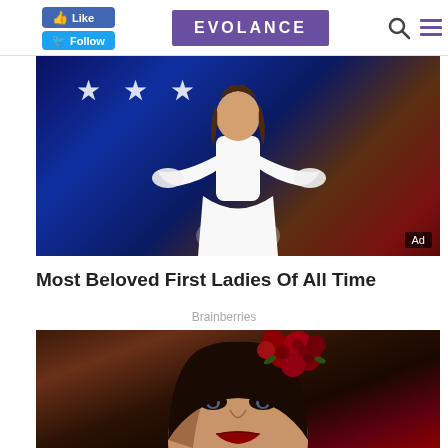EVOLANCE
[Figure (photo): Woman in white dress with flared sleeves on a stage with blue lights and stars in background, arms outstretched. Ad badge in bottom right corner.]
Most Beloved First Ladies Of All Time
Brainberries
[Figure (photo): Close-up portrait of a dark-haired woman with red roses arranged in her hair, wearing dramatic eye makeup and red lipstick, warm bokeh background.]